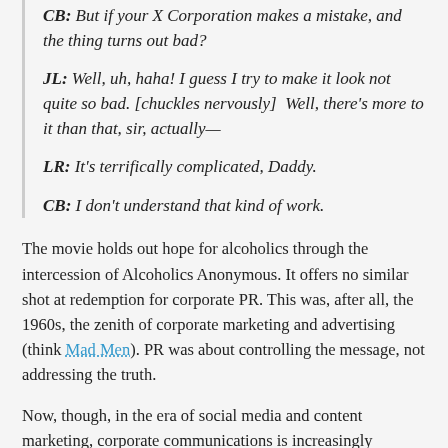CB: But if your X Corporation makes a mistake, and the thing turns out bad?
JL: Well, uh, haha! I guess I try to make it look not quite so bad. [chuckles nervously]  Well, there's more to it than that, sir, actually—
LR: It's terrifically complicated, Daddy.
CB: I don't understand that kind of work.
The movie holds out hope for alcoholics through the intercession of Alcoholics Anonymous. It offers no similar shot at redemption for corporate PR. This was, after all, the 1960s, the zenith of corporate marketing and advertising (think Mad Men). PR was about controlling the message, not addressing the truth.
Now, though, in the era of social media and content marketing, corporate communications is increasingly